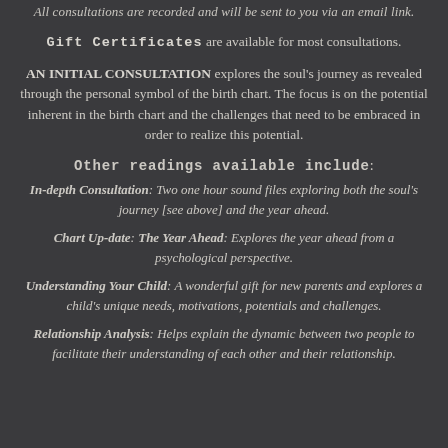All consultations are recorded and will be sent to you via an email link.
Gift Certificates are available for most consultations.
AN INITIAL CONSULTATION explores the soul's journey as revealed through the personal symbol of the birth chart. The focus is on the potential inherent in the birth chart and the challenges that need to be embraced in order to realize this potential.
Other readings available include:
In-depth Consultation: Two one hour sound files exploring both the soul's journey [see above] and the year ahead.
Chart Up-date: The Year Ahead: Explores the year ahead from a psychological perspective.
Understanding Your Child: A wonderful gift for new parents and explores a child's unique needs, motivations, potentials and challenges.
Relationship Analysis: Helps explain the dynamic between two people to facilitate their understanding of each other and their relationship.